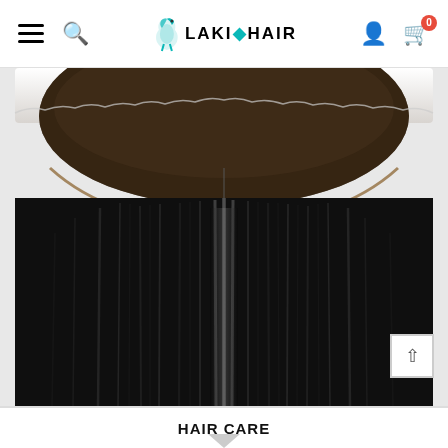Laki Hair - navigation bar with hamburger menu, search, logo, account, and cart icons
[Figure (photo): Close-up product photo of a lace frontal hair piece. The top portion shows a white/light fabric band and a brown lace mesh cap in a semicircular shape. Below the lace cap hang long, straight, dark black hair strands filling the lower portion of the image.]
HAIR CARE